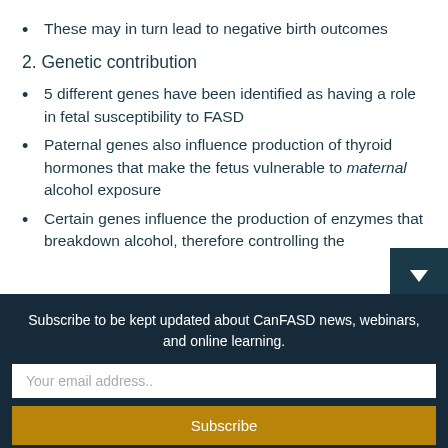These may in turn lead to negative birth outcomes
2. Genetic contribution
5 different genes have been identified as having a role in fetal susceptibility to FASD
Paternal genes also influence production of thyroid hormones that make the fetus vulnerable to maternal alcohol exposure
Certain genes influence the production of enzymes that breakdown alcohol, therefore controlling the
Subscribe to be kept updated about CanFASD news, webinars, and online learning.
Your email address..
Subscribe